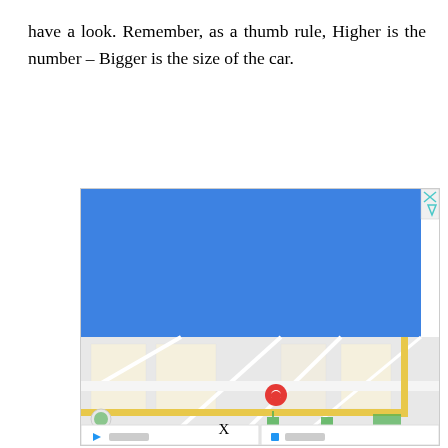have a look. Remember, as a thumb rule, Higher is the number – Bigger is the size of the car.
[Figure (screenshot): A Google Maps screenshot showing a map view with a red location pin marker in the center, a blue advertisement/banner at the top, street grid with yellow roads, and partially visible bottom navigation buttons for Directions and Call.]
X